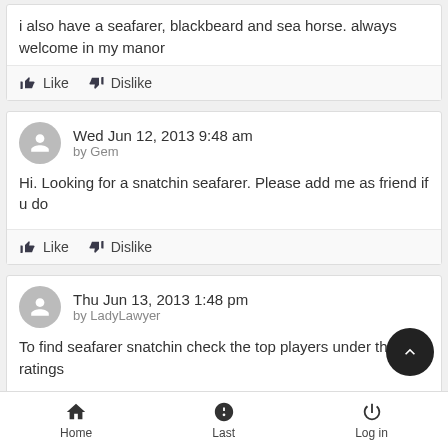i also have a seafarer, blackbeard and sea horse. always welcome in my manor
Like   Dislike
Wed Jun 12, 2013 9:48 am
by Gem
Hi. Looking for a snatchin seafarer. Please add me as friend if u do
Like   Dislike
Thu Jun 13, 2013 1:48 pm
by LadyLawyer
To find seafarer snatchin check the top players under the ratings
Home   Last   Log in